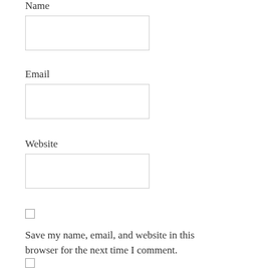Name
Email
Website
Save my name, email, and website in this browser for the next time I comment.